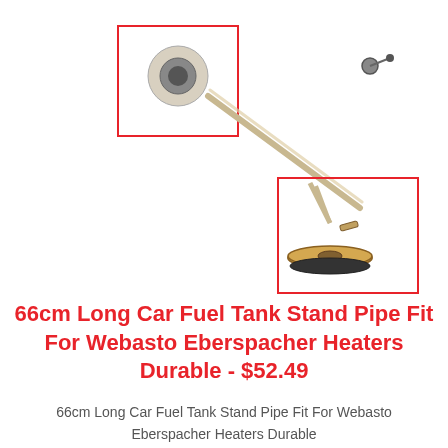[Figure (photo): Product photo of a 66cm long metal fuel tank stand pipe with two inset close-up images: one showing the hollow tube tip end (top-left, outlined in red) and one showing the base/fitting end with a flared disc base (bottom-right, outlined in red). The pipe runs diagonally across the image.]
66cm Long Car Fuel Tank Stand Pipe Fit For Webasto Eberspacher Heaters Durable - $52.49
66cm Long Car Fuel Tank Stand Pipe Fit For Webasto Eberspacher Heaters Durable